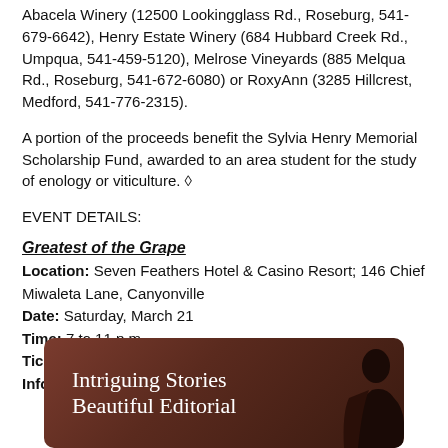Abacela Winery (12500 Lookingglass Rd., Roseburg, 541-679-6642), Henry Estate Winery (684 Hubbard Creek Rd., Umpqua, 541-459-5120), Melrose Vineyards (885 Melqua Rd., Roseburg, 541-672-6080) or RoxyAnn (3285 Hillcrest, Medford, 541-776-2315).
A portion of the proceeds benefit the Sylvia Henry Memorial Scholarship Fund, awarded to an area student for the study of enology or viticulture. ◇
EVENT DETAILS:
Greatest of the Grape
Location: Seven Feathers Hotel & Casino Resort; 146 Chief Miwaleta Lane, Canyonville
Date: Saturday, March 21
Time: 7 to 11 p.m.
Tickets: See end of story.
Information: www.umpquavalleywineries.org
[Figure (illustration): Advertisement box with dark brown/reddish background and white serif text reading 'Intriguing Stories Beautiful Editorial' with a silhouette figure on the right side.]